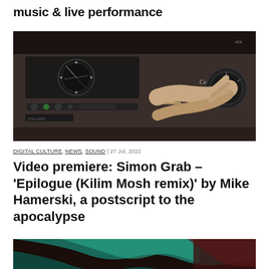music & live performance
[Figure (photo): Close-up of a hand turning a knob on a vintage audio equipment/radio with dials and display panel]
DIGITAL CULTURE, NEWS, SOUND | 27 Jul, 2022
Video premiere: Simon Grab – 'Epilogue (Kilim Mosh remix)' by Mike Hamerski, a postscript to the apocalypse
[Figure (photo): Partial image showing dark fabric or material with teal/green tones]